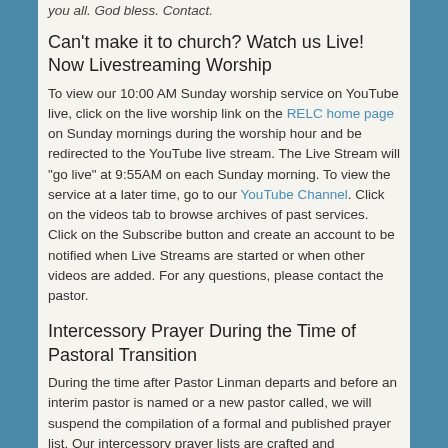you all. God bless. Contact.
Can't make it to church? Watch us Live! Now Livestreaming Worship
To view our 10:00 AM Sunday worship service on YouTube live, click on the live worship link on the RELC home page on Sunday mornings during the worship hour and be redirected to the YouTube live stream. The Live Stream will "go live" at 9:55AM on each Sunday morning. To view the service at a later time, go to our YouTube Channel. Click on the videos tab to browse archives of past services. Click on the Subscribe button and create an account to be notified when Live Streams are started or when other videos are added. For any questions, please contact the pastor.
Intercessory Prayer During the Time of Pastoral Transition
During the time after Pastor Linman departs and before an interim pastor is named or a new pastor called, we will suspend the compilation of a formal and published prayer list. Our intercessory prayer lists are crafted and